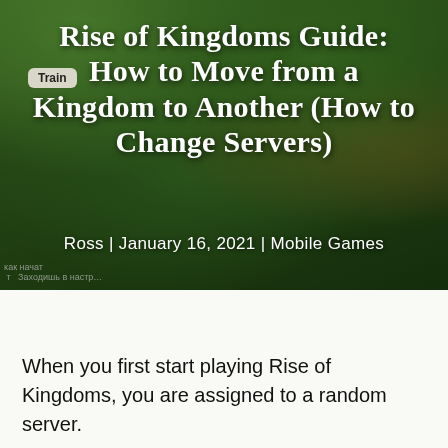[Figure (screenshot): Screenshot of Rise of Kingdoms mobile game showing an aerial view of a game city/kingdom with green landscape, buildings, and roads. A 'Train' button is partially visible in the upper left area. Russian text appears at the bottom left.]
Rise of Kingdoms Guide: How to Move from a Kingdom to Another (How to Change Servers)
Ross | January 16, 2021 | Mobile Games
When you first start playing Rise of Kingdoms, you are assigned to a random server.